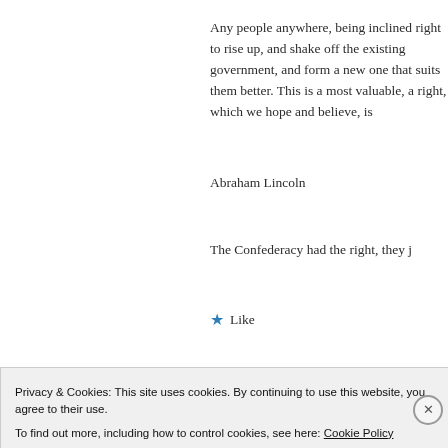Any people anywhere, being inclined right to rise up, and shake off the existing government, and form a new one that suits them better. This is a most valuable, a most sacred right, which we hope and believe, is...
Abraham Lincoln
The Confederacy had the right, they j...
★ Like
Christopher Shelley says:
Privacy & Cookies: This site uses cookies. By continuing to use this website, you agree to their use.
To find out more, including how to control cookies, see here: Cookie Policy